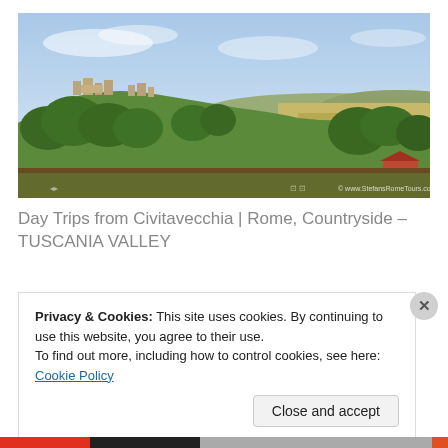[Figure (photo): Panoramic landscape photo of Tuscania Valley showing ancient ruins on a hilltop surrounded by green trees and rolling countryside fields under a partly cloudy sky. Watermark: © www.StefansRomeTours.com]
Day Trips from Civitavecchia | Rome, Countryside – TUSCANIA VALLEY
Privacy & Cookies: This site uses cookies. By continuing to use this website, you agree to their use.
To find out more, including how to control cookies, see here: Cookie Policy
Close and accept